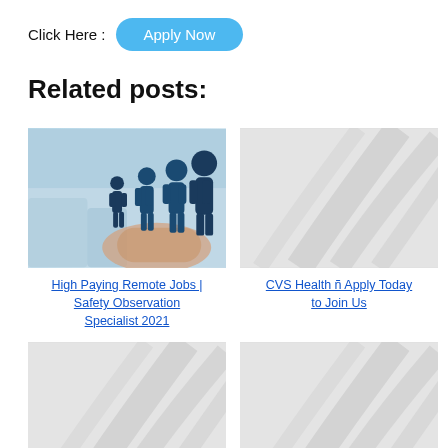Click Here :
Apply Now
Related posts:
[Figure (photo): Person holding hand out with silhouette figures of people in a professional setting, blurred office background]
High Paying Remote Jobs | Safety Observation Specialist 2021
[Figure (illustration): Gray placeholder image with decorative swirl/wave pattern]
CVS Health ñ Apply Today to Join Us
[Figure (illustration): Gray placeholder image with decorative swirl/wave pattern (bottom left)]
[Figure (illustration): Gray placeholder image with decorative swirl/wave pattern (bottom right)]